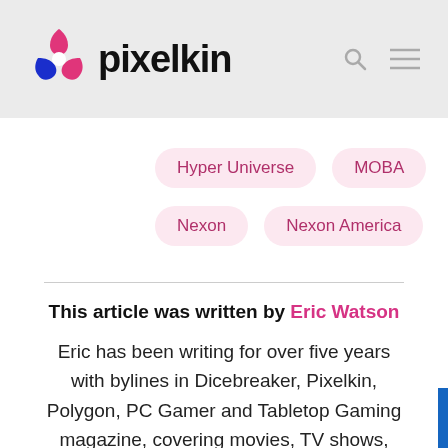pixelkin
Hyper Universe
MOBA
Nexon
Nexon America
This article was written by Eric Watson
Eric has been writing for over five years with bylines in Dicebreaker, Pixelkin, Polygon, PC Gamer and Tabletop Gaming magazine, covering movies, TV shows,